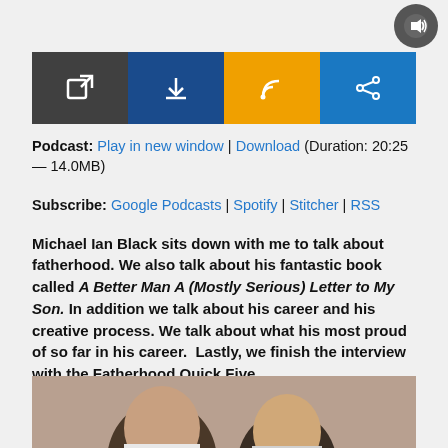[Figure (screenshot): Podcast player toolbar with four buttons: open in new window (dark grey), download (dark blue), RSS feed (orange), share (light blue)]
Podcast: Play in new window | Download (Duration: 20:25 — 14.0MB)
Subscribe: Google Podcasts | Spotify | Stitcher | RSS
Michael Ian Black sits down with me to talk about fatherhood. We also talk about his fantastic book called A Better Man A (Mostly Serious) Letter to My Son. In addition we talk about his career and his creative process. We talk about what his most proud of so far in his career.  Lastly, we finish the interview with the Fatherhood Quick Five.
[Figure (photo): Photo of two people, partially visible at the bottom of the page]